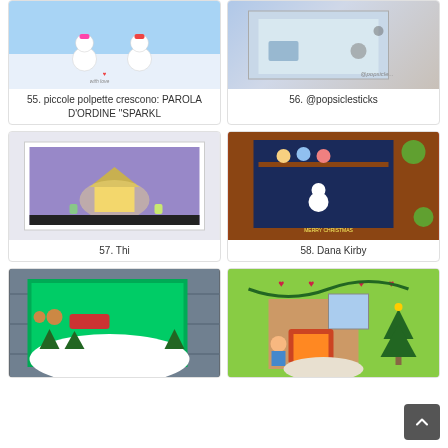[Figure (photo): Card with two snowmen on snowy hill with 'with love' text]
55. piccole polpette crescono: PAROLA D'ORDINE "SPARKL
[Figure (photo): Craft supplies and stamps on table, @popsiclesticks]
56. @popsiclesticks
[Figure (photo): Nighttime Halloween/spooky scene card with glowing house]
57. Thi
[Figure (photo): Christmas card with animal characters in snow scene, Merry Christmas]
58. Dana Kirby
[Figure (photo): Christmas card with Santa sleigh and reindeer in green landscape]
[Figure (photo): Christmas scene with girl by fireplace and Christmas tree]